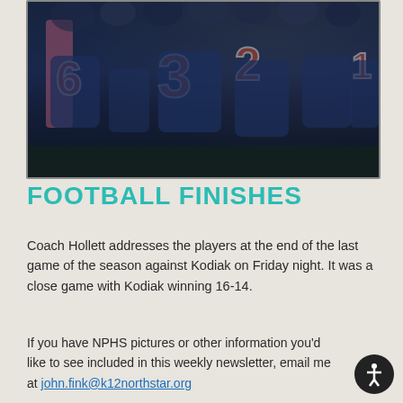[Figure (photo): Football team players seen from behind in navy blue jerseys with orange numbers (6, 3, 2, 1), gathered together at the end of a game at night. A person in pink is visible on the left side.]
FOOTBALL FINISHES
Coach Hollett addresses the players at the end of the last game of the season against Kodiak on Friday night. It was a close game with Kodiak winning 16-14.
If you have NPHS pictures or other information you'd like to see included in this weekly newsletter, email me at john.fink@k12northstar.org